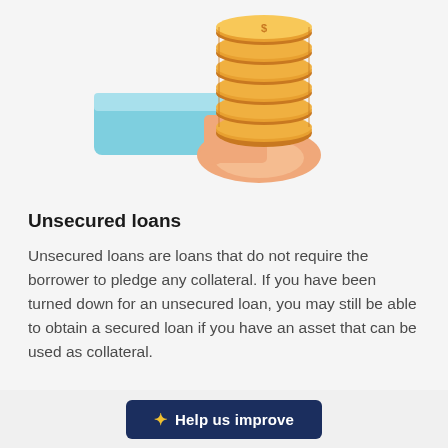[Figure (illustration): A hand with a light blue sleeve holding a tall stack of gold coins, illustrated in a flat/cartoon style.]
Unsecured loans
Unsecured loans are loans that do not require the borrower to pledge any collateral. If you have been turned down for an unsecured loan, you may still be able to obtain a secured loan if you have an asset that can be used as collateral.
Help us improve